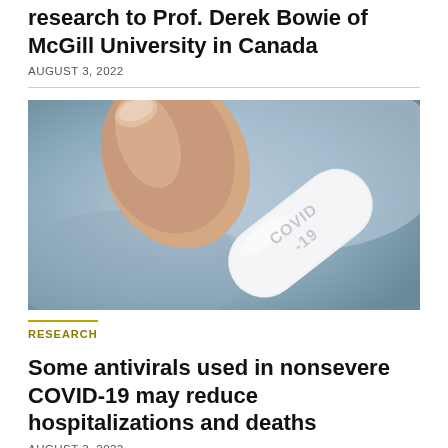research to Prof. Derek Bowie of McGill University in Canada
AUGUST 3, 2022
[Figure (photo): Close-up photo of a hand holding a white pill tablet with 'COVID-19' embossed on it, against a blurred blue background]
RESEARCH
Some antivirals used in nonsevere COVID-19 may reduce hospitalizations and deaths
AUGUST 3, 2022
[Figure (photo): Partial view of another article image at the bottom, showing a teal/light blue background with a dark circular element]